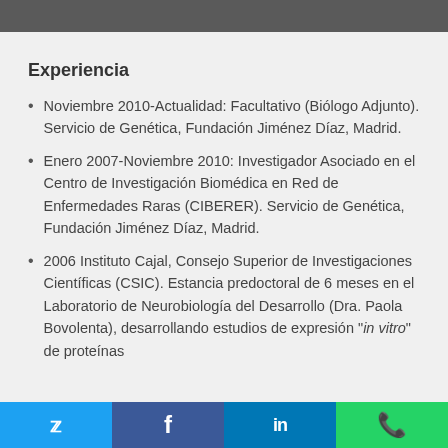Experiencia
Noviembre 2010-Actualidad: Facultativo (Biólogo Adjunto). Servicio de Genética, Fundación Jiménez Díaz, Madrid.
Enero 2007-Noviembre 2010: Investigador Asociado en el Centro de Investigación Biomédica en Red de Enfermedades Raras (CIBERER). Servicio de Genética, Fundación Jiménez Díaz, Madrid.
2006 Instituto Cajal, Consejo Superior de Investigaciones Científicas (CSIC). Estancia predoctoral de 6 meses en el Laboratorio de Neurobiología del Desarrollo (Dra. Paola Bovolenta), desarrollando estudios de expresión "in vitro" de proteínas
Twitter | Facebook | LinkedIn | WhatsApp